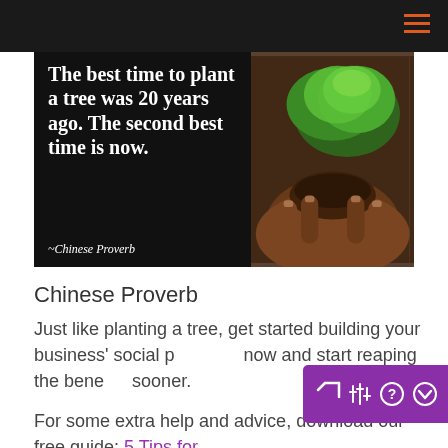[Figure (photo): Inspirational quote image with dark background. Left side shows bold white serif text: 'The best time to plant a tree was 20 years ago. The second best time is now. ~Chinese Proverb'. Right side shows photograph of hands holding a small tree with soil.]
Chinese Proverb
Just like planting a tree, get started building your business' social presence now and start reaping the benefits sooner.
For some extra help and advice, download our free guide: 5 Tips for